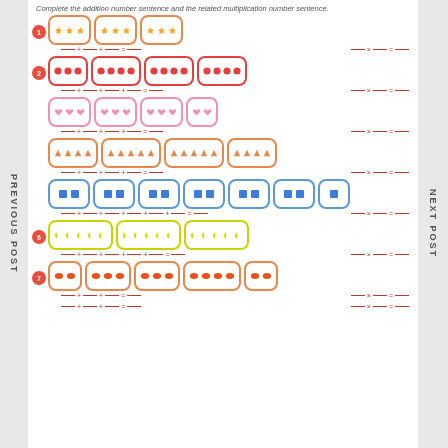Complete the addition number sentence and the related multiplication number sentence.
[Figure (illustration): Math worksheet showing groups of icons (stars, circles, hearts, triangles, squares, moons, ovals) in rounded boxes with addition and multiplication number sentence blanks. Items are numbered 1-7 with red circle labels.]
PREVIOUS POST
NEXT POST